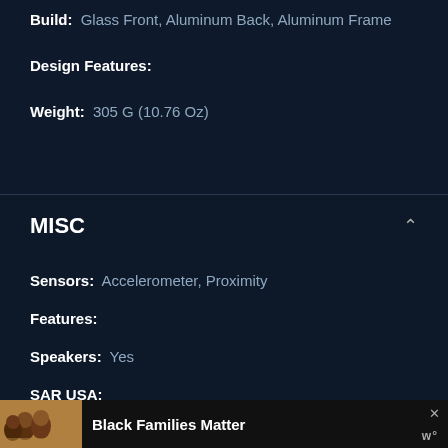Build: Glass Front, Aluminum Back, Aluminum Frame
Design Features:
Weight: 305 G (10.76 Oz)
MISC
Sensors: Accelerometer, Proximity
Features:
Speakers: Yes
SAR USA:
[Figure (photo): Advertisement banner showing a family photo with the text 'Black Families Matter' and a close button.]